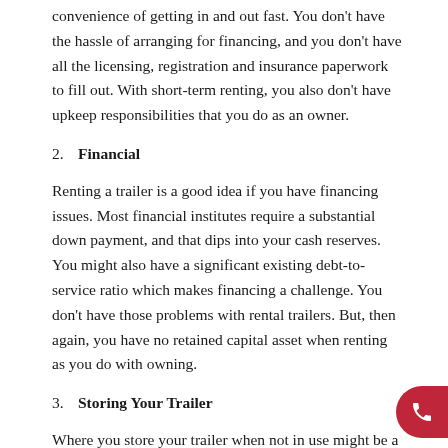convenience of getting in and out fast. You don't have the hassle of arranging for financing, and you don't have all the licensing, registration and insurance paperwork to fill out. With short-term renting, you also don't have upkeep responsibilities that you do as an owner.
2. Financial
Renting a trailer is a good idea if you have financing issues. Most financial institutes require a substantial down payment, and that dips into your cash reserves. You might also have a significant existing debt-to-service ratio which makes financing a challenge. You don't have those problems with rental trailers. But, then again, you have no retained capital asset when renting as you do with owning.
3. Storing Your Trailer
Where you store your trailer when not in use might be a challenge if you own it and have the trailer around permanently. Trailers take up parking room. That could be a